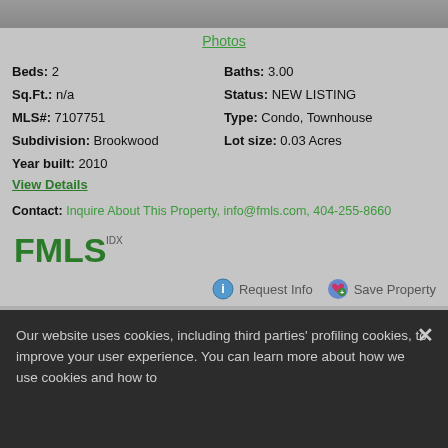[Figure (photo): Partial view of a property photo strip at the top of the listing]
Photos
Beds: 2  Baths: 3.00  Sq.Ft.: n/a  Status: NEW LISTING  MLS#: 7107751  Type: Condo, Townhouse  Subdivision: Brookwood  Lot size: 0.03 Acres  Year built: 2010
View Details
Contact: Inquire About This Property, info@fmls.com, 404-255-8660
[Figure (logo): FMLS IDX logo in green]
Request Info  Save Property
View additional info
Our website uses cookies, including third parties' profiling cookies, to improve your user experience. You can learn more about how we use cookies and how to